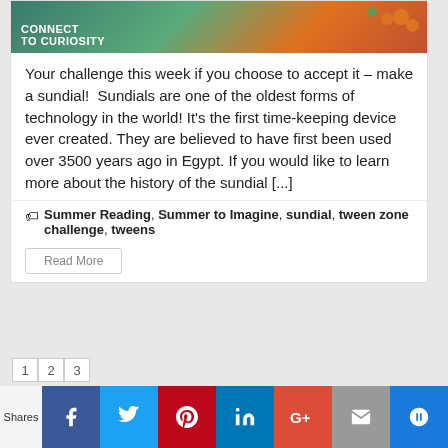[Figure (illustration): Banner image with 'Connect to Curiosity' text on a green and orange illustrated background]
Your challenge this week if you choose to accept it – make a sundial!  Sundials are one of the oldest forms of technology in the world! It's the first time-keeping device ever created. They are believed to have first been used over 3500 years ago in Egypt. If you would like to learn more about the history of the sundial [...]
Summer Reading, Summer to Imagine, sundial, tween zone challenge, tweens
Read More
1 2 3  |  Shares  Facebook Twitter Pinterest LinkedIn Google+ Email SumoMe